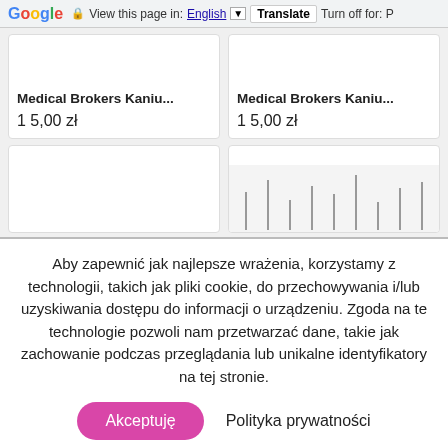Google  View this page in: English [▼]  Translate  Turn off for: P
Medical Brokers Kaniu...  15,00 zł
Medical Brokers Kaniu...  15,00 zł
[Figure (other): Partially visible product card with no image]
[Figure (other): Partially visible product card with needle/bar chart preview]
Aby zapewnić jak najlepsze wrażenia, korzystamy z technologii, takich jak pliki cookie, do przechowywania i/lub uzyskiwania dostępu do informacji o urządzeniu. Zgoda na te technologie pozwoli nam przetwarzać dane, takie jak zachowanie podczas przeglądania lub unikalne identyfikatory na tej stronie.
Akceptuję   Polityka prywatności